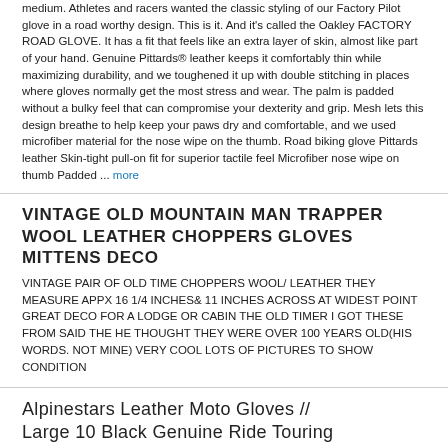medium. Athletes and racers wanted the classic styling of our Factory Pilot glove in a road worthy design. This is it. And it's called the Oakley FACTORY ROAD GLOVE. It has a fit that feels like an extra layer of skin, almost like part of your hand. Genuine Pittards® leather keeps it comfortably thin while maximizing durability, and we toughened it up with double stitching in places where gloves normally get the most stress and wear. The palm is padded without a bulky feel that can compromise your dexterity and grip. Mesh lets this design breathe to help keep your paws dry and comfortable, and we used microfiber material for the nose wipe on the thumb. Road biking glove Pittards leather Skin-tight pull-on fit for superior tactile feel Microfiber nose wipe on thumb Padded ... more
VINTAGE OLD MOUNTAIN MAN TRAPPER WOOL LEATHER CHOPPERS GLOVES MITTENS DECO
VINTAGE PAIR OF OLD TIME CHOPPERS WOOL/ LEATHER THEY MEASURE APPX 16 1/4 INCHES& 11 INCHES ACROSS AT WIDEST POINT GREAT DECO FOR A LODGE OR CABIN THE OLD TIMER I GOT THESE FROM SAID THE HE THOUGHT THEY WERE OVER 100 YEARS OLD(HIS WORDS. NOT MINE) VERY COOL LOTS OF PICTURES TO SHOW CONDITION
Alpinestars Leather Moto Gloves // Large 10 Black Genuine Ride Touring Light
GO SHOP NOW SELL YOUR GEAR POLICIES RETURNS ABOUT